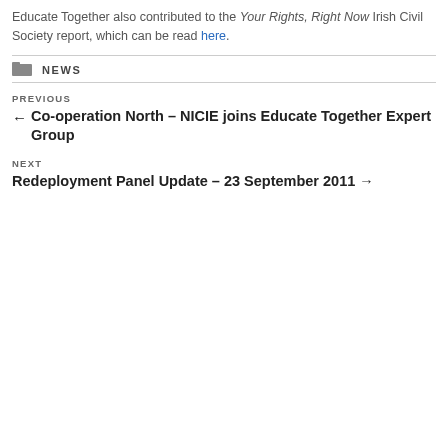Educate Together also contributed to the Your Rights, Right Now Irish Civil Society report, which can be read here.
NEWS
PREVIOUS
← Co-operation North – NICIE joins Educate Together Expert Group
NEXT
Redeployment Panel Update – 23 September 2011 →